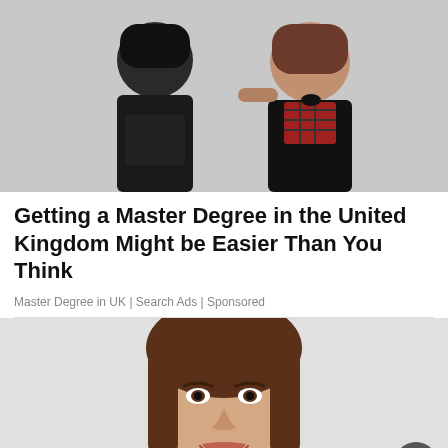[Figure (photo): Two people in dark clothing posing together, one wearing a plaid red shirt, in a stylized photo shoot setting]
Getting a Master Degree in the United Kingdom Might be Easier Than You Think
Master Degree in UK | Search Ads | Sponsored
[Figure (photo): Portrait of a young woman with long brown hair smiling at the camera against a light gray background]
[Figure (infographic): Waters Edge advertisement banner: Win A Free 2 Night Stay]